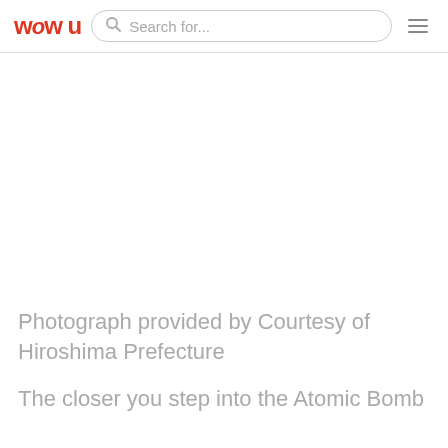WOW U  Search for...
[Figure (photo): White/blank area where a photograph would be displayed, no image visible]
Photograph provided by Courtesy of Hiroshima Prefecture
The closer you step into the Atomic Bomb